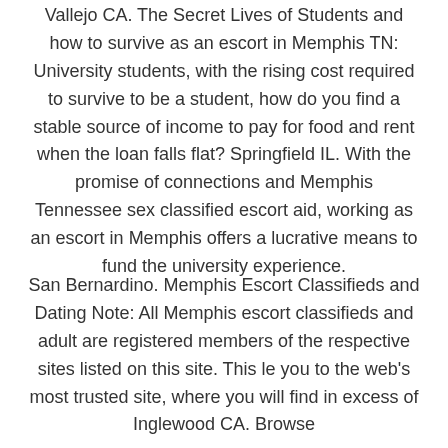Vallejo CA. The Secret Lives of Students and how to survive as an escort in Memphis TN: University students, with the rising cost required to survive to be a student, how do you find a stable source of income to pay for food and rent when the loan falls flat? Springfield IL. With the promise of connections and Memphis Tennessee sex classified escort aid, working as an escort in Memphis offers a lucrative means to fund the university experience.
San Bernardino. Memphis Escort Classifieds and Dating Note: All Memphis escort classifieds and adult are registered members of the respective sites listed on this site. This le you to the web's most trusted site, where you will find in excess of Inglewood CA. Browse